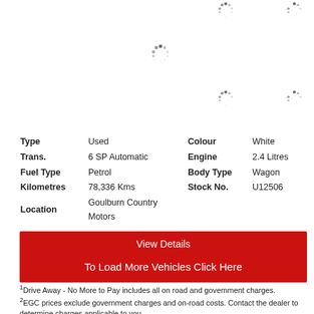[Figure (other): Loading spinner icons (4 loading indicators shown as spinning dots)]
| Type | Used | Colour | White |
| Trans. | 6 SP Automatic | Engine | 2.4 Litres |
| Fuel Type | Petrol | Body Type | Wagon |
| Kilometres | 78,336 Kms | Stock No. | U12506 |
| Location | Goulburn Country Motors |  |  |
View Details
To Load More Vehicles Click Here
1Drive Away - No More to Pay includes all on road and government charges.
2EGC prices exclude government charges and on-road costs. Contact the dealer to determine charges applicable to you.
3Price on Application - Price will be disclosed to you upon contacting us.
4Comparison Rates will vary for each customer between 6.26% and up to 16.43% (and annual percentage rates between 3.95% to 13.93%)